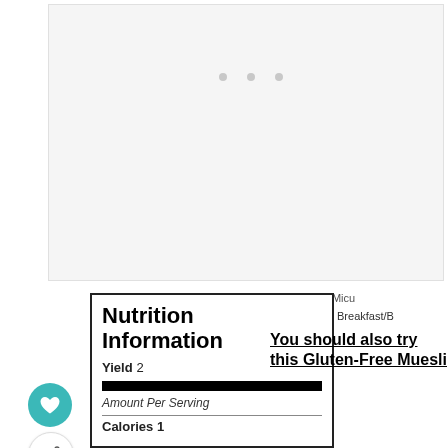[Figure (photo): Large image placeholder area with light gray background and three small gray dots, likely a loading state for a food/recipe photo]
© Ruxandra Micu
CATEGORY: Breakfast/B
Nutrition Information
Yield 2
Amount Per Serving
Calories 1
You should also try this Gluten-Free Muesli